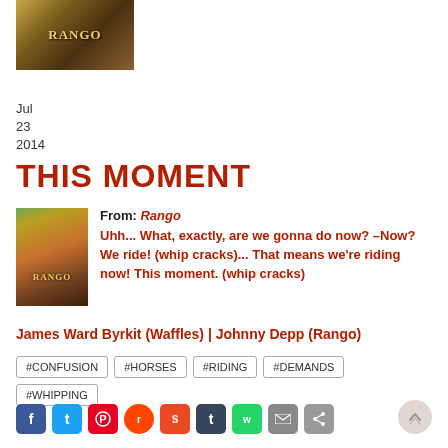[Figure (photo): Rango movie poster thumbnail at top left]
Jul
23
2014
THIS MOMENT
[Figure (photo): Rango movie poster thumbnail in quote section]
From: Rango
Uhh... What, exactly, are we gonna do now? –Now? We ride! (whip cracks)... That means we're riding now! This moment. (whip cracks)
James Ward Byrkit (Waffles) | Johnny Depp (Rango)
#CONFUSION
#HORSES
#RIDING
#DEMANDS
#WHIPPING